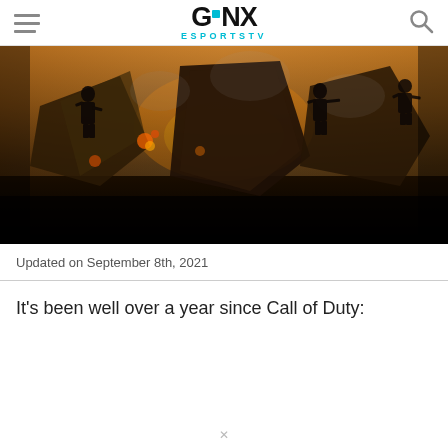GINX ESPORTSTV
[Figure (photo): Hero banner image showing a Call of Duty game scene with soldiers and explosions, dark and dramatic lighting]
Updated on September 8th, 2021
It's been well over a year since Call of Duty: